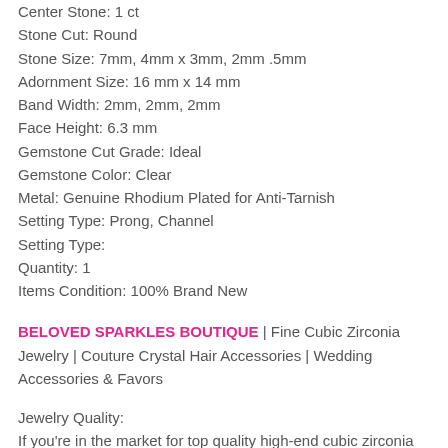Center Stone: 1 ct
Stone Cut: Round
Stone Size: 7mm, 4mm x 3mm, 2mm .5mm
Adornment Size: 16 mm x 14 mm
Band Width: 2mm, 2mm, 2mm
Face Height: 6.3 mm
Gemstone Cut Grade: Ideal
Gemstone Color: Clear
Metal: Genuine Rhodium Plated for Anti-Tarnish
Setting Type: Prong, Channel
Setting Type:
Quantity: 1
Items Condition: 100% Brand New
BELOVED SPARKLES BOUTIQUE | Fine Cubic Zirconia Jewelry | Couture Crystal Hair Accessories | Wedding Accessories & Favors
Jewelry Quality:
If you're in the market for top quality high-end cubic zirconia jewelry, you will love our exquisite collection. We carry the finest Faux Diamond Jewelry made with top quality high-end cubic zirconia and crystal stones. Our best quality CZs Collections are all hand cut and polish to perfection, than place into their exquisite